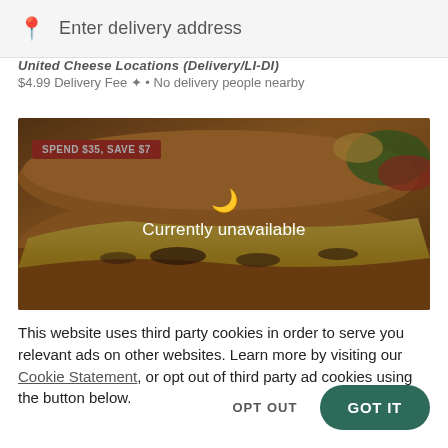Enter delivery address
United Cheese Locations (Delivery/LI-DI) $4.99 Delivery Fee • No delivery people nearby
[Figure (photo): Food delivery app screenshot showing a cheesy sandwich/pizza photo with a red promo tag 'SPEND $35, SAVE $7' and a 'Currently unavailable' overlay with moon icon]
This website uses third party cookies in order to serve you relevant ads on other websites. Learn more by visiting our Cookie Statement, or opt out of third party ad cookies using the button below.
OPT OUT
GOT IT